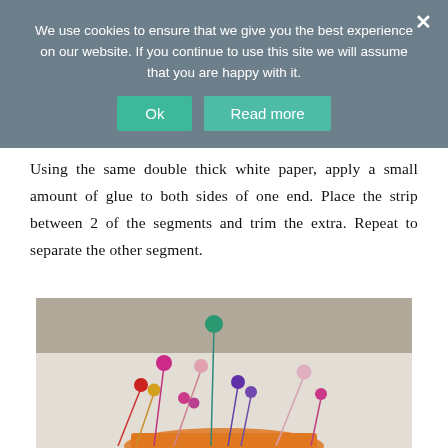We use cookies to ensure that we give you the best experience on our website. If you continue to use this site we will assume that you are happy with it.
Using the same double thick white paper, apply a small amount of glue to both sides of one end. Place the strip between 2 of the segments and trim the extra. Repeat to separate the other segment.
[Figure (photo): A photo showing colorful ball-head pins (red, gold, pink, magenta, purple, teal/green) inserted into what appears to be an orange pincushion or similar crafting base, with a beige/grey background.]